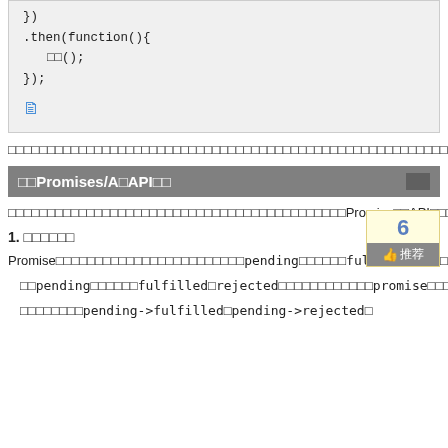[Figure (screenshot): Code block showing JavaScript: }) .then(function(){ □□(); });  with a copy icon below]
□□□□□□□□□□□□□□□□□□□□□□□□□□□□□□□□□□□□□□□□□□□□□□□□□□□□□□□□□□□□□□□□□□□□□□□□□□□□□□□□□□□□□□□□□□□□□□□□□□
□□Promises/A□API□□
□□□□□□□□□□□□□□□□□□□□□□□□□□□□□□□□□□□□□□□□□□□Promise□□API□□□□
1. □□□□□□
Promise□□□□□□□□□□□□□□□□□□□□□□□□pending□□□□□□fulfilled□□□□□□□□rejected□□□□□□□□
□□pending□□□□□□fulfilled□rejected□□□□□□□□□□□□□promise□□□□□□□□□□
□□□□□□□□pending->fulfilled□pending->rejected□